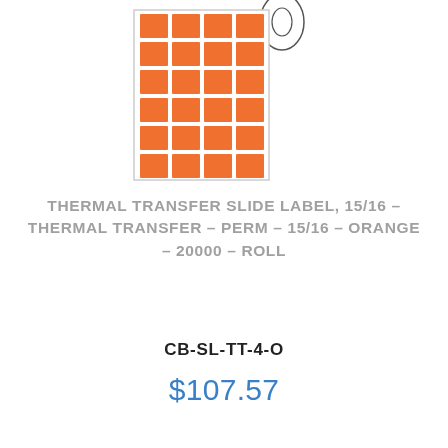[Figure (illustration): Illustration of a roll of orange square labels on a white roll/spool. The label sheet shows a 4-column by 6-row grid of orange square labels with white gaps between them, mounted on a roll with a circular spool visible at the top right.]
THERMAL TRANSFER SLIDE LABEL, 15/16 - THERMAL TRANSFER - PERM - 15/16 - ORANGE - 20000 - ROLL
CB-SL-TT-4-O
$107.57